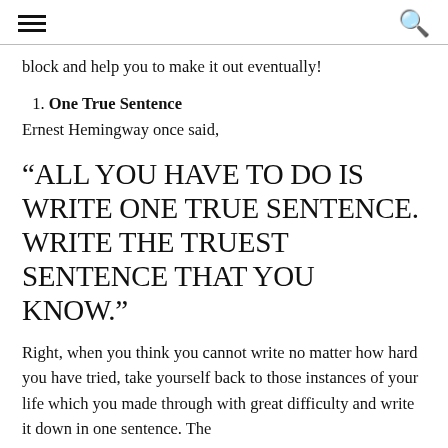≡   🔍
block and help you to make it out eventually!
1. One True Sentence
Ernest Hemingway once said,
“ALL YOU HAVE TO DO IS WRITE ONE TRUE SENTENCE. WRITE THE TRUEST SENTENCE THAT YOU KNOW.”
Right, when you think you cannot write no matter how hard you have tried, take yourself back to those instances of your life which you made through with great difficulty and write it down in one sentence. The